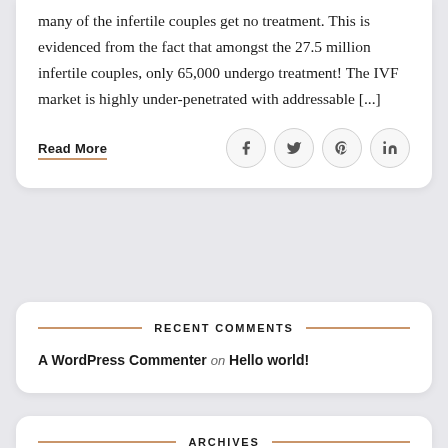many of the infertile couples get no treatment. This is evidenced from the fact that amongst the 27.5 million infertile couples, only 65,000 undergo treatment! The IVF market is highly under-penetrated with addressable [...]
Read More
RECENT COMMENTS
A WordPress Commenter on Hello world!
ARCHIVES